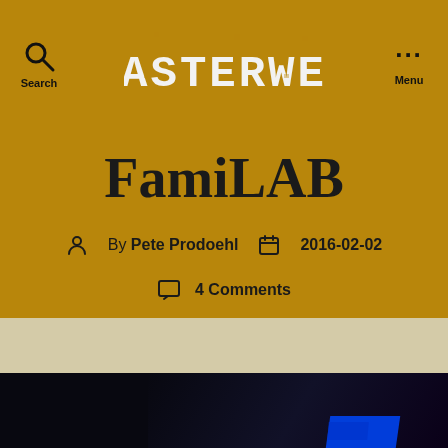RASTERWEB — Search | Menu
FamiLAB
By Pete Prodoehl   2016-02-02
4 Comments
[Figure (photo): Dark photo showing what appears to be electronic hardware with blue LED light accent, partially visible at bottom of page]